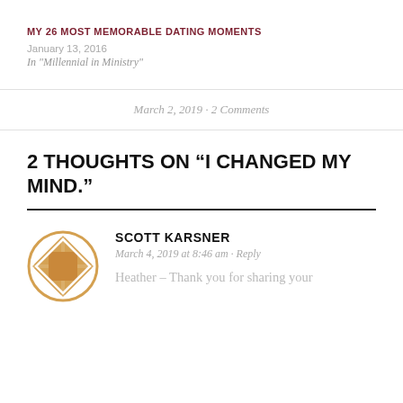MY 26 MOST MEMORABLE DATING MOMENTS
January 13, 2016
In "Millennial in Ministry"
March 2, 2019 · 2 Comments
2 THOUGHTS ON “I CHANGED MY MIND.”
SCOTT KARSNER
March 4, 2019 at 8:46 am · Reply
Heather – Thank you for sharing your